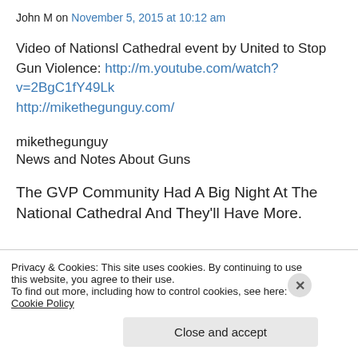John M on November 5, 2015 at 10:12 am
Video of Nationsl Cathedral event by United to Stop Gun Violence: http://m.youtube.com/watch?v=2BgC1fY49Lk
http://mikethegunguy.com/
mikethegunguy
News and Notes About Guns
The GVP Community Had A Big Night At The National Cathedral And They'll Have More.
Privacy & Cookies: This site uses cookies. By continuing to use this website, you agree to their use.
To find out more, including how to control cookies, see here: Cookie Policy
Close and accept